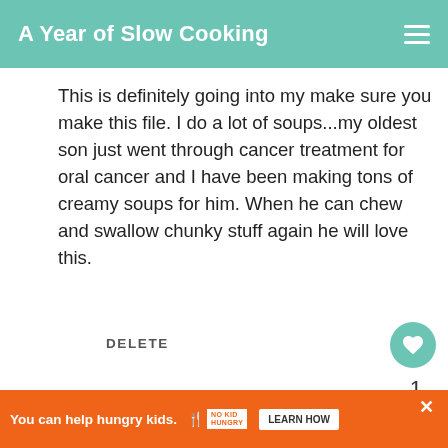A Year of Slow Cooking
This is definitely going into my make sure you make this file. I do a lot of soups...my oldest son just went through cancer treatment for oral cancer and I have been making tons of creamy soups for him. When he can chew and swallow chunky stuff again he will love this.
DELETE
STEPHANIE ODEA
9/18/2008
marigold, thank you for pointing that out! I've when